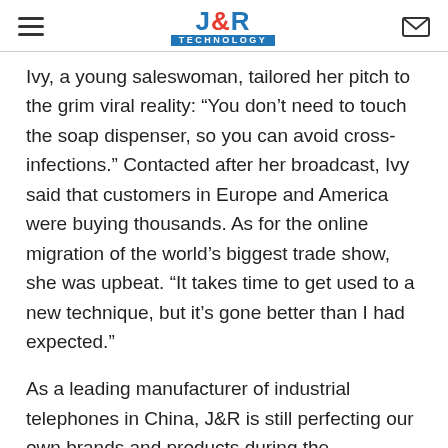J&R Technology
Ivy, a young saleswoman, tailored her pitch to the grim viral reality: “You don’t need to touch the soap dispenser, so you can avoid cross-infections.” Contacted after her broadcast, Ivy said that customers in Europe and America were buying thousands. As for the online migration of the world’s biggest trade show, she was upbeat. “It takes time to get used to a new technique, but it’s gone better than I had expected.”
As a leading manufacturer of industrial telephones in China, J&R is still perfecting our own brands and products during the pandemic. J&R adhering to the people-oriented, safety-first